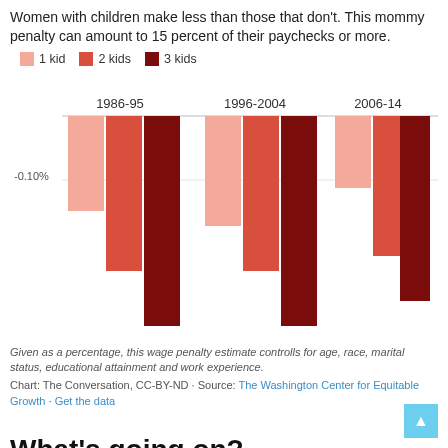Women with children make less than those that don't. This mommy penalty can amount to 15 percent of their paychecks or more.
[Figure (grouped-bar-chart): Mommy wage penalty by number of kids across time periods]
Given as a percentage, this wage penalty estimate controlls for age, race, marital status, educational attainment and work experience.
Chart: The Conversation, CC-BY-ND · Source: The Washington Center for Equitable Growth · Get the data
What's going on?
It surprised us to see not only that working moms with just one